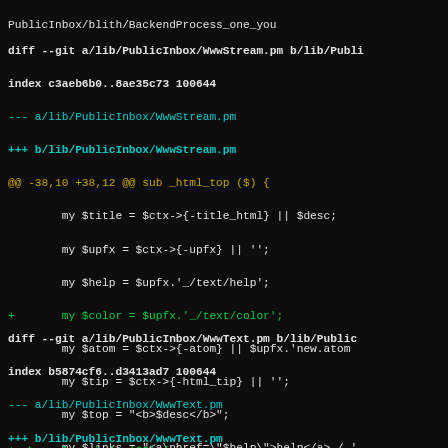[Figure (screenshot): Git diff output showing changes to WwwStream.pm and WwwText.pm Perl files in PublicInbox project, displayed in a terminal with syntax highlighting.]